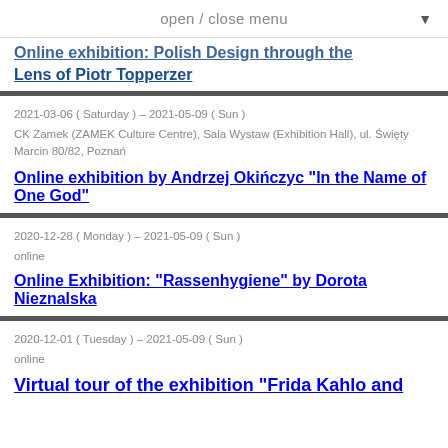open / close menu
Online exhibition: Polish Design through the Lens of Piotr Topperzer
2021-03-06 ( Saturday ) – 2021-05-09 ( Sun )
CK Zamek (ZAMEK Culture Centre), Sala Wystaw (Exhibition Hall), ul. Święty Marcin 80/82, Poznań
Online exhibition by Andrzej Okińczyc "In the Name of One God"
2020-12-28 ( Monday ) – 2021-05-09 ( Sun )
online
Online Exhibition: "Rassenhygiene" by Dorota Nieznalska
2020-12-01 ( Tuesday ) – 2021-05-09 ( Sun )
online
Virtual tour of the exhibition "Frida Kahlo and